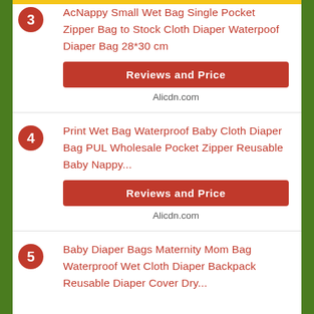AcNappy Small Wet Bag Single Pocket Zipper Bag to Stock Cloth Diaper Waterpoof Diaper Bag 28*30 cm
Reviews and Price
Alicdn.com
Print Wet Bag Waterproof Baby Cloth Diaper Bag PUL Wholesale Pocket Zipper Reusable Baby Nappy...
Reviews and Price
Alicdn.com
Baby Diaper Bags Maternity Mom Bag Waterproof Wet Cloth Diaper Backpack Reusable Diaper Cover Dry...